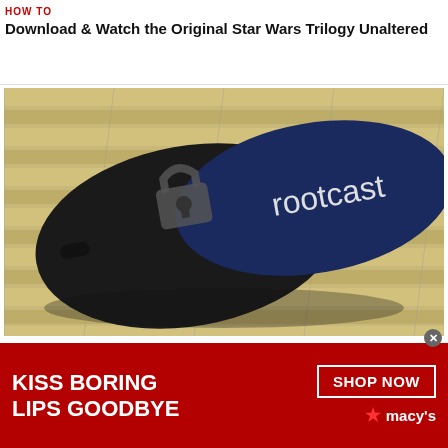HOW TO
Download & Watch the Original Star Wars Trilogy Unaltered
[Figure (photo): A black and navy blue Chromecast-like device labeled 'rootcast' with an unlocked padlock icon, resting on a bamboo mat surface]
HOW TO
Root Your Chromecast
[Figure (photo): Partial view of a person's face with red lips, used in a Macy's advertisement overlay]
[Figure (infographic): Macy's advertisement banner: 'KISS BORING LIPS GOODBYE' with SHOP NOW button and Macy's star logo]